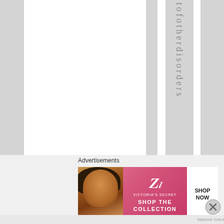tofotherdisorders
[Figure (illustration): Victoria's Secret advertisement banner with model, VS logo, 'SHOP THE COLLECTION' text, and 'SHOP NOW' button]
Advertisements